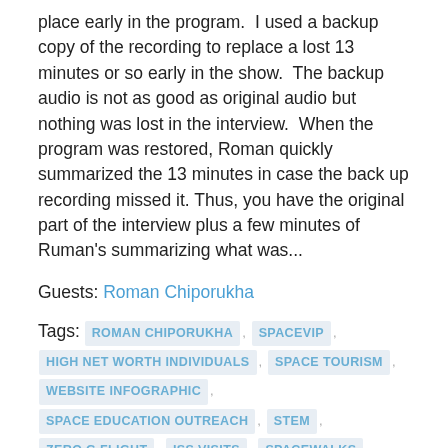place early in the program.  I used a backup copy of the recording to replace a lost 13 minutes or so early in the show.  The backup audio is not as good as original audio but nothing was lost in the interview.  When the program was restored, Roman quickly summarized the 13 minutes in case the back up recording missed it. Thus, you have the original part of the interview plus a few minutes of Ruman's summarizing what was...
Guests: Roman Chiporukha
Tags: ROMAN CHIPORUKHA , SPACEVIP , HIGH NET WORTH INDIVIDUALS , SPACE TOURISM , WEBSITE INFOGRAPHIC , SPACE EDUCATION OUTREACH , STEM , ZERO G FLIGHT , ISS VISITS , SPACEWALKS , TARGET MARKET , SPACE EDUCATION , GENERAL PUBLIC CUSTOMERS , INSPIRING OTHERS ABOUT SPACE , PROGRAMS FOR WOMEN IN SPACE , HIGH SCHOOL OUTREACH , SPACEVIP MISSIONS , EARTHANAUT MISSIONS , AQUANAUT OCEAN MISSIONS , ASTRONAUT MISSIONS FOR ABOVE EARTH , VISITS TO THE MARIANA TRENCH , REEF